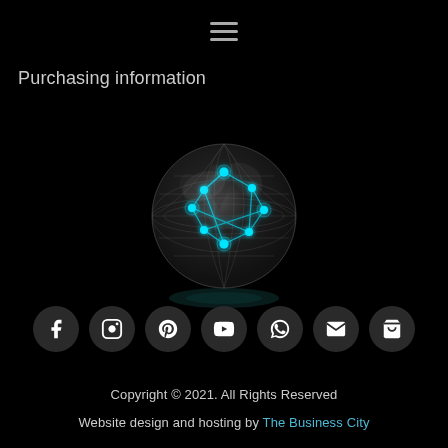≡
Purchasing information
[Figure (illustration): Digital globe with glowing cyan network connection nodes on a dark background, representing global connectivity]
[Figure (other): Row of seven social media/action icon buttons (Facebook, Instagram, Pinterest, YouTube, WhatsApp, Email, Shopping basket) on dark circular backgrounds]
Copyright © 2021. All Rights Reserved
Website design and hosting by The Business City